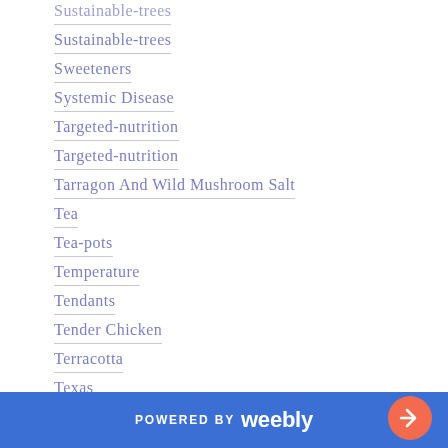Sustainable-trees
Sustainable-trees
Sweeteners
Systemic Disease
Targeted-nutrition
Targeted-nutrition
Tarragon And Wild Mushroom Salt
Tea
Tea-pots
Temperature
Tendants
Tender Chicken
Terracotta
Texas
Texas-moringa
Thai-tea
POWERED BY weebly